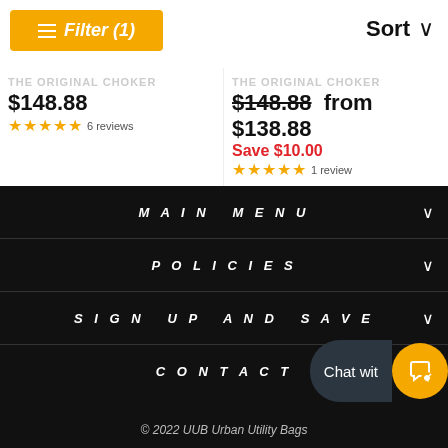Filter (1)
Sort
THE ORIGINAL CHOKER
$148.88
6 reviews
THE ORIGINAL CHOKER
$148.88  from $138.88
Save $10.00
1 review
MAIN MENU
POLICIES
SIGN UP AND SAVE
CONTACT
Chat wit…
© 2022 UUB Urban Utility Bags